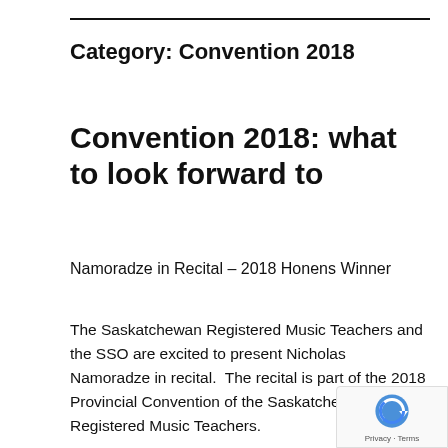Category: Convention 2018
Convention 2018: what to look forward to
Namoradze in Recital – 2018 Honens Winner
The Saskatchewan Registered Music Teachers and the SSO are excited to present Nicholas Namoradze in recital.  The recital is part of the 2018 Provincial Convention of the Saskatchewan Registered Music Teachers.